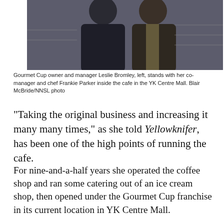[Figure (photo): Two people standing side by side inside a cafe. The person on the left wears a dark zip-up jacket and the person on the right wears a dark vest with a patterned shirt. Background shows shelving with bottles/items.]
Gourmet Cup owner and manager Leslie Bromley, left, stands with her co-manager and chef Frankie Parker inside the cafe in the YK Centre Mall. Blair McBride/NNSL photo
“Taking the original business and increasing it many many times,” as she told Yellowknifer, has been one of the high points of running the cafe.
For nine-and-a-half years she operated the coffee shop and ran some catering out of an ice cream shop, then opened under the Gourmet Cup franchise in its current location in YK Centre Mall.